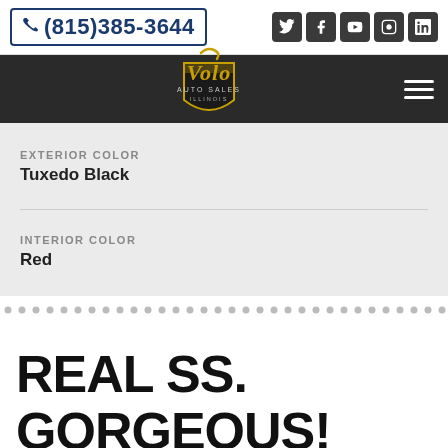(815)385-3644
[Figure (logo): Volo Auto Sales Illinois logo with gold script and shield emblem on dark nav bar]
EXTERIOR COLOR
Tuxedo Black
INTERIOR COLOR
Red
REAL SS. GORGEOUS!